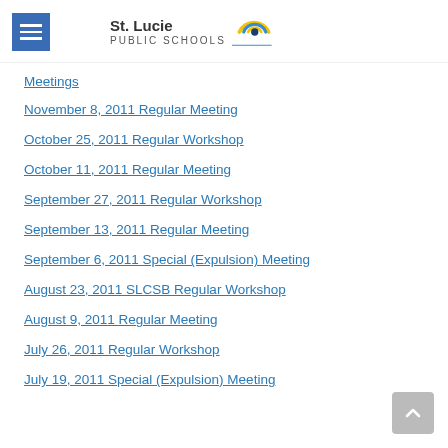St. Lucie Public Schools
Meetings
November 8, 2011 Regular Meeting
October 25, 2011 Regular Workshop
October 11, 2011 Regular Meeting
September 27, 2011 Regular Workshop
September 13, 2011 Regular Meeting
September 6, 2011 Special (Expulsion) Meeting
August 23, 2011 SLCSB Regular Workshop
August 9, 2011 Regular Meeting
July 26, 2011 Regular Workshop
July 19, 2011 Special (Expulsion) Meeting